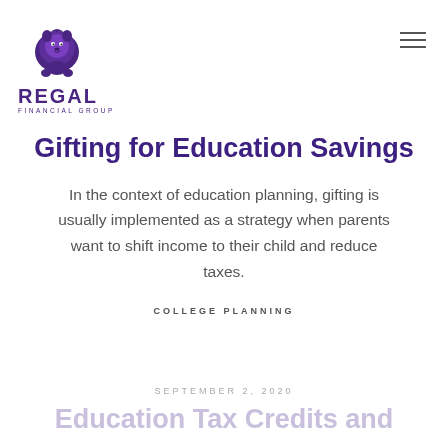[Figure (logo): Regal Financial Group logo with lion illustration in purple, text REGAL in bold purple letters and FINANCIAL GROUP below]
Gifting for Education Savings
In the context of education planning, gifting is usually implemented as a strategy when parents want to shift income to their child and reduce taxes.
COLLEGE PLANNING
SEPTEMBER 2, 2020
Education Tax Credits and